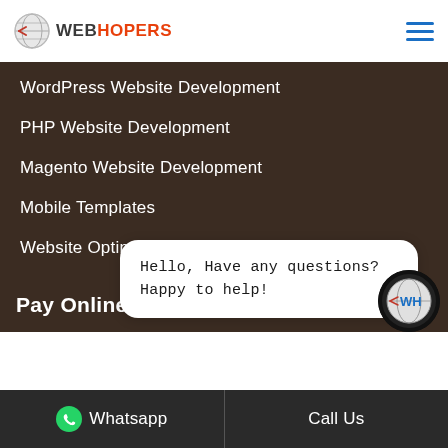WEBHOPERS
WordPress Website Development
PHP Website Development
Magento Website Development
Mobile Templates
Website Optimization
Mobile App Development
IPhone App Development
Android App Development
Laravel Development Services
Pay Online
Hello, Have any questions?
Happy to help!
Whatsapp   Call Us